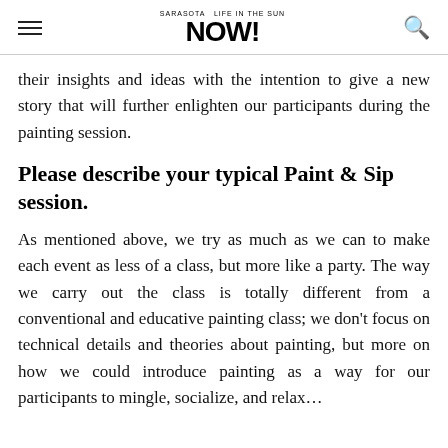SARASOTA LIFE IN THE SUN NOW!
their insights and ideas with the intention to give a new story that will further enlighten our participants during the painting session.
Please describe your typical Paint & Sip session.
As mentioned above, we try as much as we can to make each event as less of a class, but more like a party. The way we carry out the class is totally different from a conventional and educative painting class; we don't focus on technical details and theories about painting, but more on how we could introduce painting as a way for our participants to mingle, socialize, and relax…